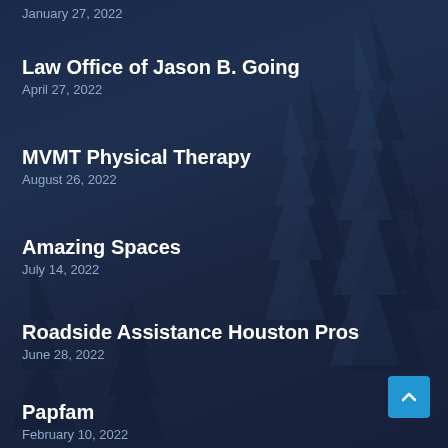January 27, 2022
Law Office of Jason B. Going
April 27, 2022
MVMT Physical Therapy
August 26, 2022
Amazing Spaces
July 14, 2022
Roadside Assistance Houston Pros
June 28, 2022
Papfam
February 10, 2022